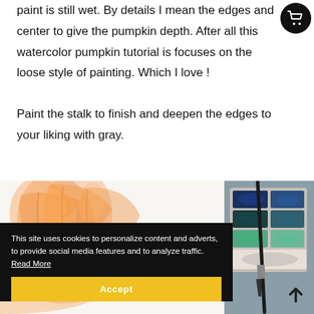paint is still wet. By details I mean the edges and center to give the pumpkin depth. After all this watercolor pumpkin tutorial is focuses on the loose style of painting. Which I love !
Paint the stalk to finish and deepen the edges to your liking with gray.
[Figure (photo): Photo showing a watercolor painting of a pumpkin in progress with orange hues on white paper, alongside a watercolor paint palette with blue and other colors, and a paintbrush.]
This site uses cookies to personalize content and adverts, to provide social media features and to analyze traffic.  Read More
Accept